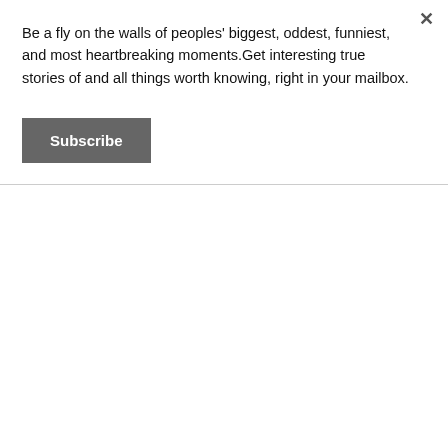Be a fly on the walls of peoples' biggest, oddest, funniest, and most heartbreaking moments.Get interesting true stories of and all things worth knowing, right in your mailbox.
Subscribe
[Figure (other): Gray image placeholder area]
Scars
As much as uplifting memories stay with us forever, so do the negative ones.